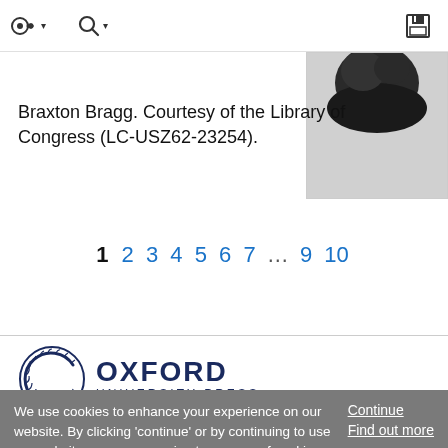toolbar with login, search icons and save icon
Braxton Bragg. Courtesy of the Library of Congress (LC-USZ62-23254).
[Figure (photo): Partial black and white photo of Braxton Bragg, showing top of head]
1 2 3 4 5 6 7 … 9 10
[Figure (logo): Oxford University Press logo with circular laurel wreath icon and text OXFORD UNIVERSITY PRESS]
We use cookies to enhance your experience on our website. By clicking 'continue' or by continuing to use our website, you are agreeing to our use of cookies. You can change your cookie settings at any time.
Continue Find out more